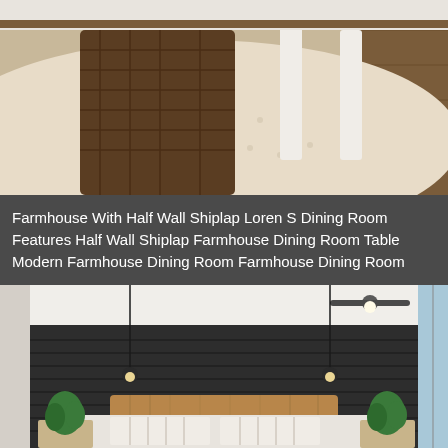[Figure (photo): Interior photo showing a wicker/rattan dining chair and white chair legs on a cream/beige textured rug with dark hardwood floor visible around the edges. Farmhouse dining room setting.]
Farmhouse With Half Wall Shiplap Loren S Dining Room Features Half Wall Shiplap Farmhouse Dining Room Table Modern Farmhouse Dining Room Farmhouse Dining Room
[Figure (photo): Interior bedroom photo showing a dark charcoal/black shiplap accent wall, wooden bed headboard, white and striped bedding, pendant lights hanging from ceiling, potted green plants on nightstands, ceiling fan visible, natural light from window on the right side.]